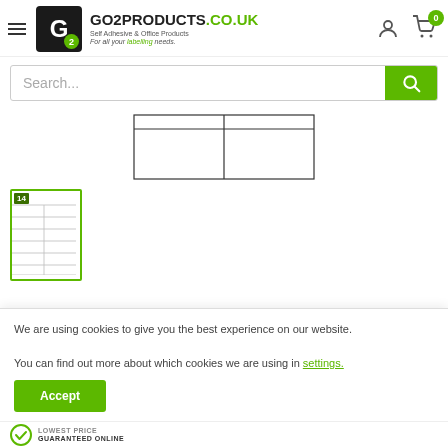[Figure (logo): Go2Products.co.uk logo with hamburger menu, user icon, and cart icon with badge 0]
[Figure (screenshot): Search bar with green search button]
[Figure (other): Label sheet diagram showing 2-across label layout]
[Figure (other): Thumbnail of 14-label sheet with green border]
We are using cookies to give you the best experience on our website.

You can find out more about which cookies we are using in settings.
Accept
LOWEST PRICE
GUARANTEED ONLINE